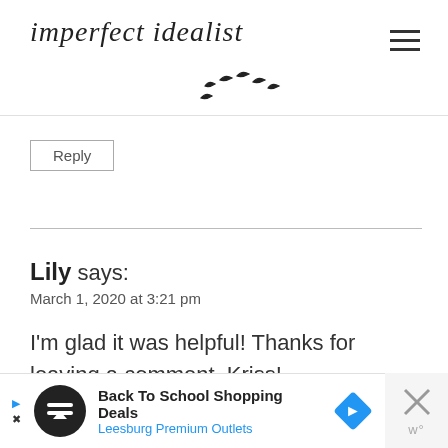imperfect idealist
Reply
Lily says:
March 1, 2020 at 3:21 pm
I'm glad it was helpful! Thanks for leaving a comment, Kriss!
Reply
[Figure (screenshot): Advertisement banner: Back To School Shopping Deals - Leesburg Premium Outlets]